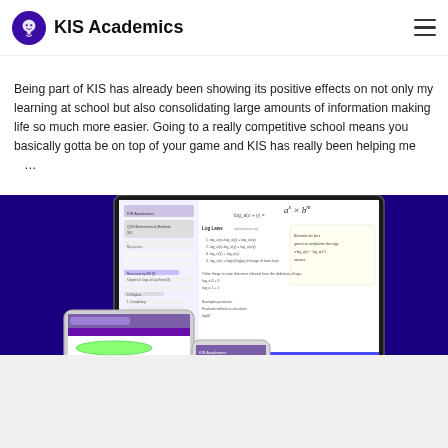KIS Academics
Being part of KIS has already been showing its positive effects on not only my learning at school but also consolidating large amounts of information making life so much more easier. Going to a really competitive school means you basically gotta be on top of your game and KIS has really been helping me …
[Figure (screenshot): Screenshot of KIS Academics platform showing on a desktop iMac, tablet, and mobile device. The desktop shows a mathematics lesson interface with handwritten notes showing logarithm laws (log laws). The tablet and phone show additional views of the learning platform.]